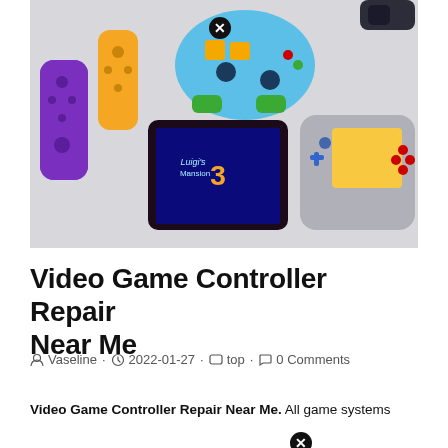[Figure (photo): Photo of Nintendo Switch gaming controllers and consoles: a purple Joy-Con, yellow Joy-Con, a blue Mario-themed Pro controller, a Nintendo Switch docked showing Luigi's Mansion 3, and a Nintendo Switch Lite in gray showing a colorful game, all arranged on a white surface.]
Video Game Controller Repair Near Me
Vaseline · 2022-01-27 · top · 0 Comments
Video Game Controller Repair Near Me. All game systems